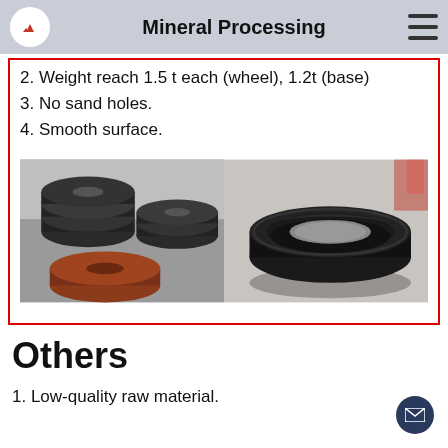Mineral Processing
2. Weight reach 1.5 t each (wheel), 1.2t (base)
3. No sand holes.
4. Smooth surface.
[Figure (photo): Two photos side by side: left shows stacked dark circular grinding wheel discs and a reddish-brown base disc in an industrial setting; right shows a single large dark circular grinding ring/wheel viewed from above on a concrete floor.]
Others
1. Low-quality raw material.